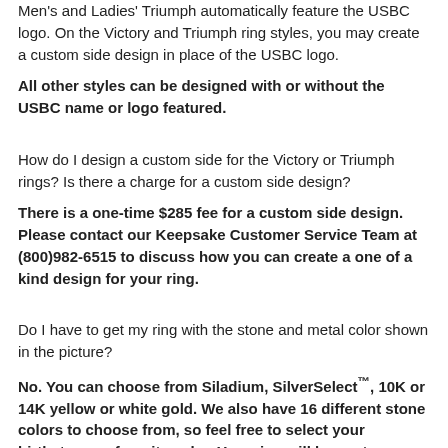Men's and Ladies' Triumph automatically feature the USBC logo. On the Victory and Triumph ring styles, you may create a custom side design in place of the USBC logo.
All other styles can be designed with or without the USBC name or logo featured.
How do I design a custom side for the Victory or Triumph rings? Is there a charge for a custom side design?
There is a one-time $285 fee for a custom side design. Please contact our Keepsake Customer Service Team at (800)982-6515 to discuss how you can create a one of a kind design for your ring.
Do I have to get my ring with the stone and metal color shown in the picture?
No. You can choose from Siladium, SilverSelect™, 10K or 14K yellow or white gold. We also have 16 different stone colors to choose from, so feel free to select your birthstone or favorite color. Your ring will be custom made just for you.